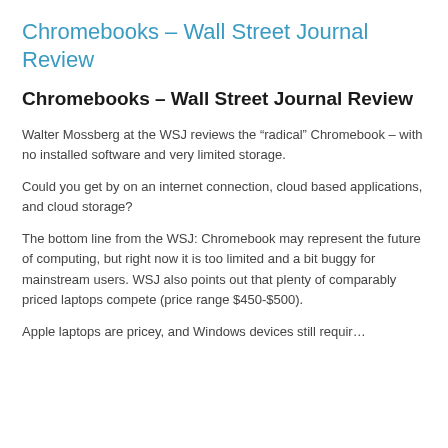Chromebooks – Wall Street Journal Review
Chromebooks – Wall Street Journal Review
Walter Mossberg at the WSJ reviews the “radical” Chromebook – with no installed software and very limited storage.
Could you get by on an internet connection, cloud based applications, and cloud storage?
The bottom line from the WSJ: Chromebook may represent the future of computing, but right now it is too limited and a bit buggy for mainstream users. WSJ also points out that plenty of comparably priced laptops compete (price range $450-$500).
Apple laptops are pricey, and Windows devices still requir…